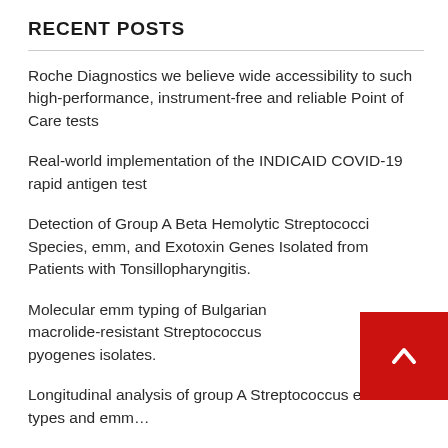RECENT POSTS
Roche Diagnostics we believe wide accessibility to such high-performance, instrument-free and reliable Point of Care tests
Real-world implementation of the INDICAID COVID-19 rapid antigen test
Detection of Group A Beta Hemolytic Streptococci Species, emm, and Exotoxin Genes Isolated from Patients with Tonsillopharyngitis.
Molecular emm typing of Bulgarian macrolide-resistant Streptococcus pyogenes isolates.
Longitudinal analysis of group A Streptococcus emm types and emm…